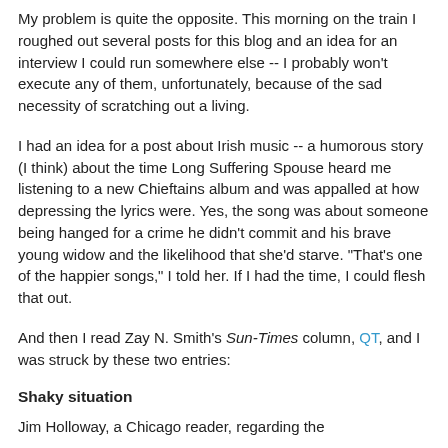My problem is quite the opposite. This morning on the train I roughed out several posts for this blog and an idea for an interview I could run somewhere else -- I probably won't execute any of them, unfortunately, because of the sad necessity of scratching out a living.
I had an idea for a post about Irish music -- a humorous story (I think) about the time Long Suffering Spouse heard me listening to a new Chieftains album and was appalled at how depressing the lyrics were. Yes, the song was about someone being hanged for a crime he didn't commit and his brave young widow and the likelihood that she'd starve. "That's one of the happier songs," I told her. If I had the time, I could flesh that out.
And then I read Zay N. Smith's Sun-Times column, QT, and I was struck by these two entries:
Shaky situation
Jim Holloway, a Chicago reader, regarding the